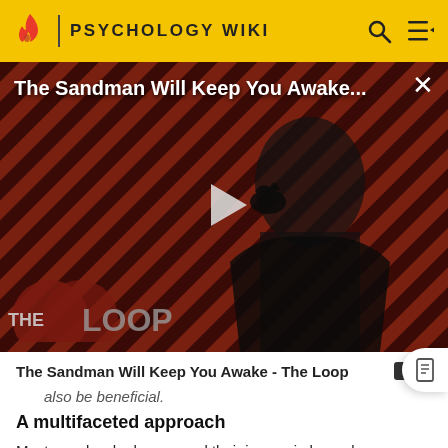PSYCHOLOGY WIKI
[Figure (screenshot): Video thumbnail for 'The Sandman Will Keep You Awake...' featuring a dark-clad figure against a red diagonal stripe background with 'THE LOOP' logo overlay and a play button in the center.]
The Sandman Will Keep You Awake - The Loop
also be beneficial.
A multifaceted approach
Most people who have cured their insomnia have done so